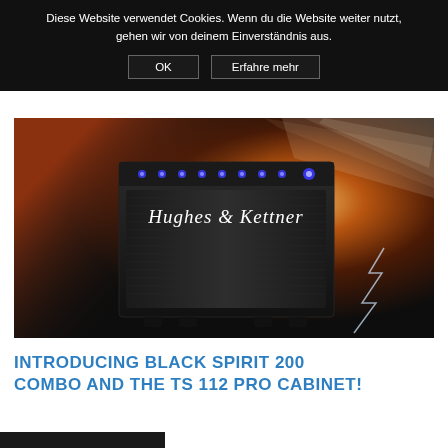Diese Website verwendet Cookies. Wenn du die Website weiter nutzt, gehen wir von deinem Einverständnis aus.
OK
Erfahre mehr
[Figure (photo): Hughes & Kettner Black Spirit 200 guitar amplifier combo on a dramatic orange and dark background with light rays and lightning effects]
INTRODUCING BLACK SPIRIT 200 COMBO AND THE TS 112 PRO CABINET!